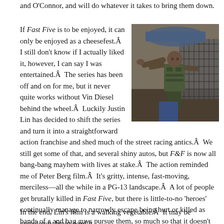and O'Connor, and will do whatever it takes to bring them down.
If Fast Five is to be enjoyed, it can only be enjoyed as a cheesefest.Â  I still don't know if I actually liked it, however, I can say I was entertained.Â  The series has been off and on for me, but it never quite works without Vin Diesel behind the wheel.Â  Luckily Justin Lin has decided to shift the series and turn it into a straightforward action franchise and shed much of the street racing antics.Â  We still get some of that, and several shiny autos, but F&F is now all bang-bang mayhem with lives at stake.Â  The action reminded me of Peter Berg film.Â  It's gritty, intense, fast-moving, merciless—all the while in a PG-13 landscape.Â  A lot of people get brutally killed in Fast Five, but there is little-to-no 'heroes' continually manage to narrowly escape being hurt or killed as bands of a and bag guys pursue them, so much so that it doesn't take long for them to mirro chased by a bunch of witless coyotes.Â  The mano-a-mano brawl between Diese infamous) has them bludgeoning each other to pulps, but there is hardlyÂ  a bloo they are just fine.Â  I picture these two freight trains crashing into each other in a duel, and walking away without a dent.Â  It doesn't make sense at all.Â  But, hey an R-rated film.
[Figure (photo): Action movie still showing a muscular man in a tactical vest in an industrial or warehouse setting, with metal fencing/grating visible in the background.]
In the end, Lin's film is a walking vegetable.Â  It may be completely brain dead b